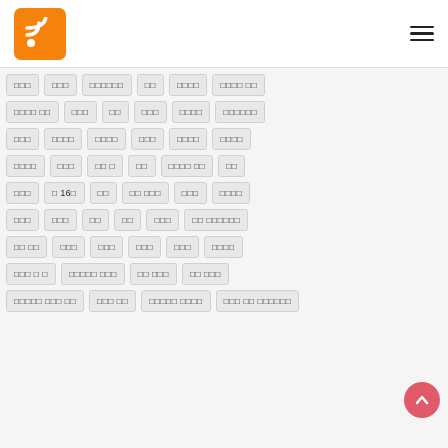RSS Feed navigation header
태그 목록 태그 버튼 그리드
[Figure (illustration): RSS feed orange logo icon with wifi-like signal symbol on orange rounded square background, and hamburger menu icon on top right]